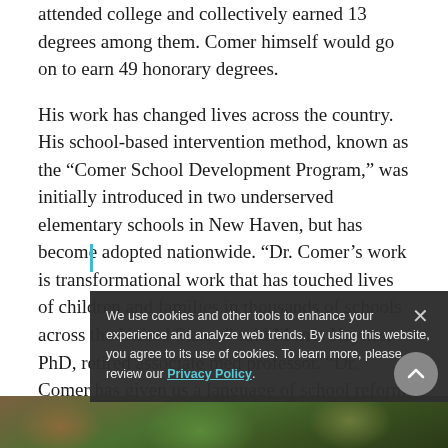attended college and collectively earned 13 degrees among them. Comer himself would go on to earn 49 honorary degrees.
His work has changed lives across the country. His school-based intervention method, known as the “Comer School Development Program,” was initially introduced in two underserved elementary schools in New Haven, but has become adopted nationwide. “Dr. Comer’s work is transformational work that has touched lives of children and families in thousands of schools across the United States,” said Morris Haynes, PhD, retired associate med professor. “Dr. Comer has given us a language of school reform that no longer resembles the old language.”
[Figure (photo): Outdoor photo strip at bottom of page showing trees and foliage]
We use cookies and other tools to enhance your experience and analyze web trends. By using this website, you agree to its use of cookies. To learn more, please review our Privacy Policy.